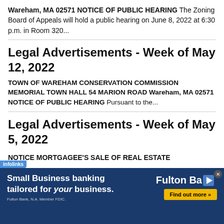Wareham, MA 02571 NOTICE OF PUBLIC HEARING The Zoning Board of Appeals will hold a public hearing on June 8, 2022 at 6:30 p.m. in Room 320...
Legal Advertisements - Week of May 12, 2022
TOWN OF WAREHAM CONSERVATION COMMISSION MEMORIAL TOWN HALL 54 MARION ROAD Wareham, MA 02571 NOTICE OF PUBLIC HEARING Pursuant to the...
Legal Advertisements - Week of May 5, 2022
NOTICE MORTGAGEE'S SALE OF REAL ESTATE
[Figure (infographic): Fulton Bank advertisement banner: 'Small Business banking tailored for your business. Find out more.' with infolinks tag.]